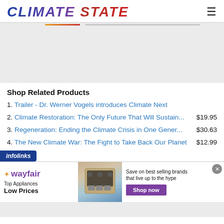CLIMATE STATE
Shop Related Products
1. Trailer - Dr. Werner Vogels introduces Climate Next
2. Climate Restoration: The Only Future That Will Sustain... $19.95
3. Regeneration: Ending the Climate Crisis in One Gener... $30.63
4. The New Climate War: The Fight to Take Back Our Planet $12.99
[Figure (screenshot): Wayfair advertisement banner: Top Appliances Low Prices, Save on best selling brands that live up to the hype, Shop now button]